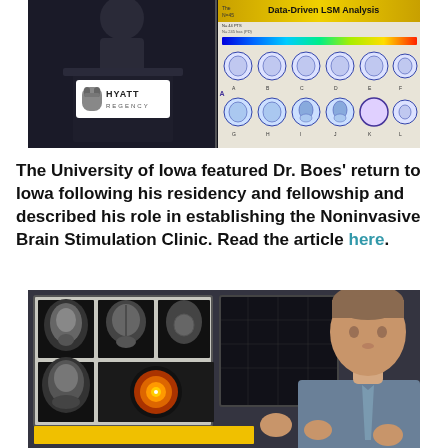[Figure (photo): A person presenting at a podium with a Hyatt Regency sign, and a slide showing 'Data-Driven LSM Analysis' with brain scan images and a rainbow color bar]
The University of Iowa featured Dr. Boes' return to Iowa following his residency and fellowship and described his role in establishing the Noninvasive Brain Stimulation Clinic. Read the article here.
[Figure (photo): Dr. Boes standing in front of monitors displaying brain MRI scans and a targeting image, gesturing with his hands]